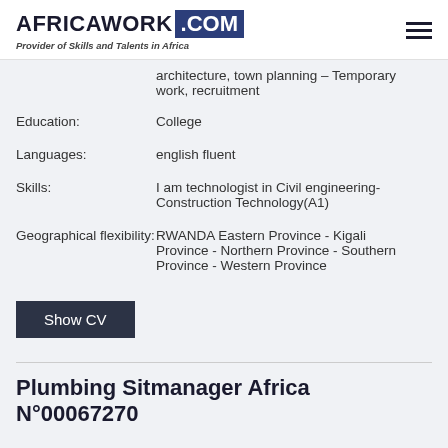AFRICAWORK .COM — Provider of Skills and Talents in Africa
architecture, town planning – Temporary work, recruitment
Education: College
Languages: english fluent
Skills: I am technologist in Civil engineering-Construction Technology(A1)
Geographical flexibility: RWANDA Eastern Province - Kigali Province - Northern Province - Southern Province - Western Province
Show CV
Plumbing Sitmanager Africa N°00067270